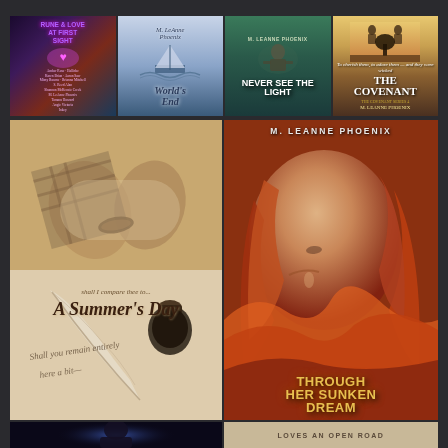[Figure (illustration): Book cover collage showing 6 book covers: 'Rune & Love at First Sight' (anthology), 'World's End' by M. LeAnne Phoenix (sailing ship), 'Never See the Light' by M. LeAnne Phoenix (male figure), 'The Covenant' by M. LeAnne Phoenix (two people with tree), 'A Summer's Day' by M. LeAnne Phoenix (hands with quill and ink), and 'Through Her Sunken Dream' by M. LeAnne Phoenix (woman with red hair). Bottom strip shows a partial view of additional covers including 'Loves an Open Road'.]